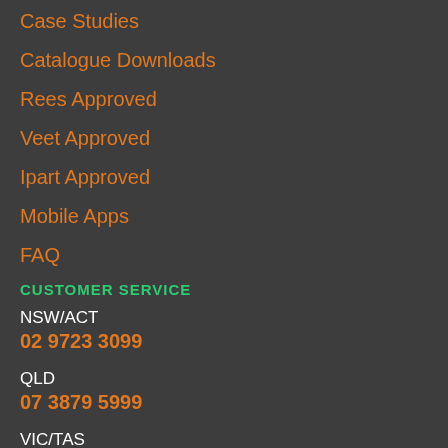Case Studies
Catalogue Downloads
Rees Approved
Veet Approved
Ipart Approved
Mobile Apps
FAQ
CUSTOMER SERVICE
NSW/ACT
02 9723 3099
QLD
07 3879 5999
VIC/TAS
03 9532 3168